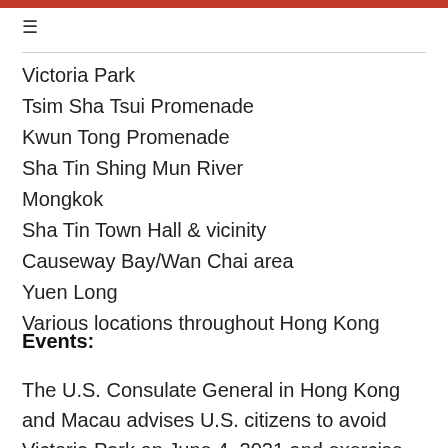Victoria Park
Tsim Sha Tsui Promenade
Kwun Tong Promenade
Sha Tin Shing Mun River
Mongkok
Sha Tin Town Hall & vicinity
Causeway Bay/Wan Chai area
Yuen Long
Various locations throughout Hong Kong
Events:
The U.S. Consulate General in Hong Kong and Macau advises U.S. citizens to avoid Victoria Park on June 4, 2021 and exercise increased caution throughout Hong Kong.